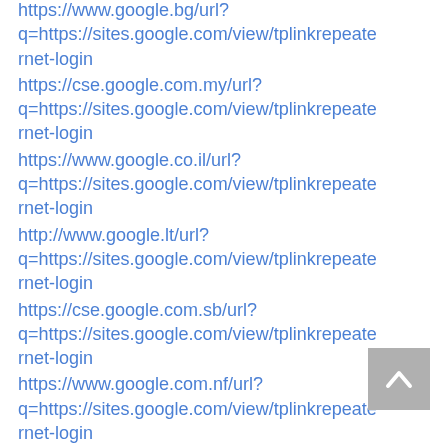https://www.google.bg/url?q=https://sites.google.com/view/tplinkrepeaternet-login
https://cse.google.com.my/url?q=https://sites.google.com/view/tplinkrepeaternet-login
https://www.google.co.il/url?q=https://sites.google.com/view/tplinkrepeaternet-login
http://www.google.lt/url?q=https://sites.google.com/view/tplinkrepeaternet-login
https://cse.google.com.sb/url?q=https://sites.google.com/view/tplinkrepeaternet-login
https://www.google.com.nf/url?q=https://sites.google.com/view/tplinkrepeaternet-login
https://cse.google.com.fj/url?q=https://sites.google.com/view/tplinkrepeaternet-login